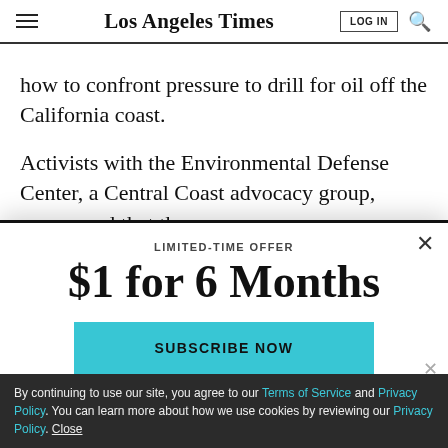Los Angeles Times
how to confront pressure to drill for oil off the California coast.
Activists with the Environmental Defense Center, a Central Coast advocacy group, announced that they
LIMITED-TIME OFFER
$1 for 6 Months
SUBSCRIBE NOW
By continuing to use our site, you agree to our Terms of Service and Privacy Policy. You can learn more about how we use cookies by reviewing our Privacy Policy. Close